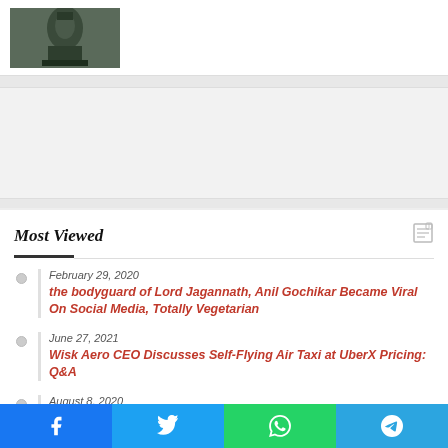[Figure (photo): Thumbnail photo of a dark metallic object (possibly a statue or idol), partially visible]
Most Viewed
February 29, 2020
the bodyguard of Lord Jagannath, Anil Gochikar Became Viral On Social Media, Totally Vegetarian
June 27, 2021
Wisk Aero CEO Discusses Self-Flying Air Taxi at UberX Pricing: Q&A
August 8, 2020
What Is Kollkata FF ? How To Play Kolkata Fatafat